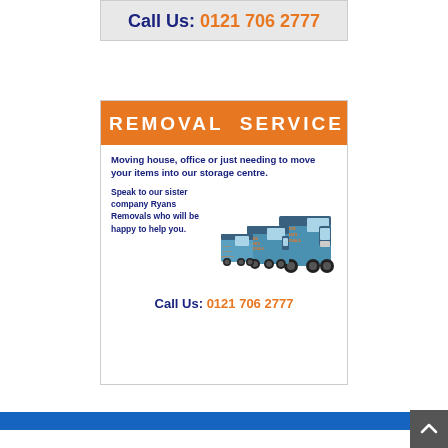Call Us: 0121 706 2777
[Figure (infographic): Removal service advertisement with orange banner reading REMOVAL SERVICE, body text about moving house or office, sister company Ryans Removals, fleet of removal trucks image, and call us phone number 0121 706 2777]